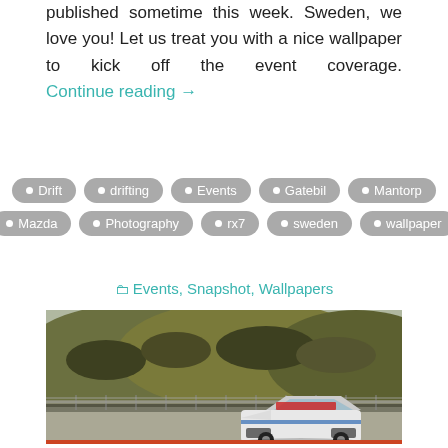published sometime this week. Sweden, we love you! Let us treat you with a nice wallpaper to kick off the event coverage. Continue reading →
• Drift • drifting • Events • Gatebil • Mantorp • Mazda • Photography • rx7 • sweden • wallpaper
Events, Snapshot, Wallpapers
[Figure (photo): Racing car (white with sponsor livery) on a track circuit with sandy dune hills covered in dry grass and shrubs in the background]